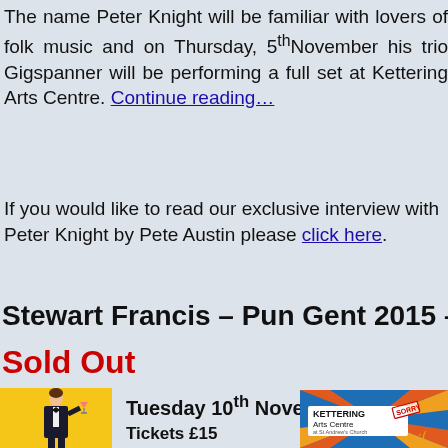The name Peter Knight will be familiar with lovers of folk music and on Thursday, 5th November his trio Gigspanner will be performing a full set at Kettering Arts Centre. Continue reading…
If you would like to read our exclusive interview with Peter Knight by Pete Austin please click here.
Stewart Francis – Pun Gent 2015 – Sold Out
Tuesday 10th November
Tickets £15
[Figure (photo): Performer photo on yellow background, man in suit holding pink cocktail]
[Figure (logo): Kettering Arts Centre logo with colourful sunburst design, text says KETTERING Arts Centre, at St Andrews Church. SORRY stamp and sad face emoji overlay.]